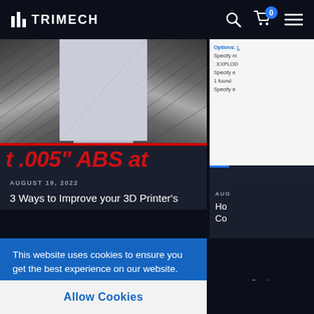TRIMECH
[Figure (screenshot): Screenshot of TRIMECH website showing a blog post about 3D printing with a close-up of a 3D printer nozzle/wheel component, text overlay reading '.005" ABS at', date AUGUST 19, 2022, and title '3 Ways to Improve your 3D Printer's']
[Figure (screenshot): Right side partially visible panel showing code/options text on light background, and another blog card with date AUG and partial title 'Ho... Co...']
This website uses cookies to ensure you get the best experience on our website.
Learn more
Allow Cookies